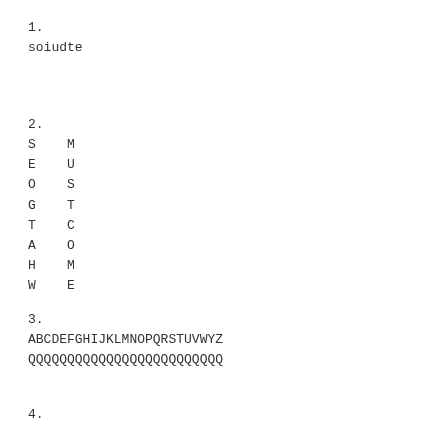1.
soiudte
2.
S    M
E    U
O    S
G    T
T    C
A    O
H    M
W    E
3.
ABCDEFGHIJKLMNOPQRSTUVWYZ
QQQQQQQQQQQQQQQQQQQQQQQQQ
4.